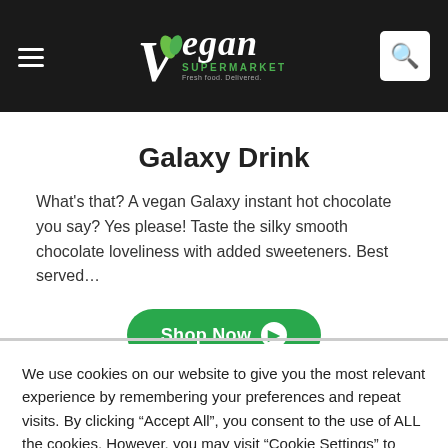Vegan Supermarket
Galaxy Drink
What's that? A vegan Galaxy instant hot chocolate you say? Yes please! Taste the silky smooth chocolate loveliness with added sweeteners. Best served…
Shop Now
We use cookies on our website to give you the most relevant experience by remembering your preferences and repeat visits. By clicking "Accept All", you consent to the use of ALL the cookies. However, you may visit "Cookie Settings" to provide a controlled consent.
Cookie Settings
Accept All